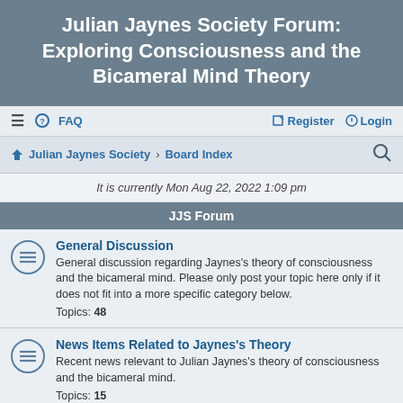Julian Jaynes Society Forum: Exploring Consciousness and the Bicameral Mind Theory
FAQ | Register | Login | Julian Jaynes Society | Board Index
It is currently Mon Aug 22, 2022 1:09 pm
JJS Forum
General Discussion
General discussion regarding Jaynes's theory of consciousness and the bicameral mind. Please only post your topic here only if it does not fit into a more specific category below.
Topics: 48
News Items Related to Jaynes's Theory
Recent news relevant to Julian Jaynes's theory of consciousness and the bicameral mind.
Topics: 15
Conferences, Events, and Local Discussion Groups
Announcements for conferences and events. If you'd like to organize a local discussion group in your area, list it here.
Topics: 13
Book Discussion: Origin of Consciousness; Gods, Voices, and the Bicameral Mind; The Julian Jaynes Collection;